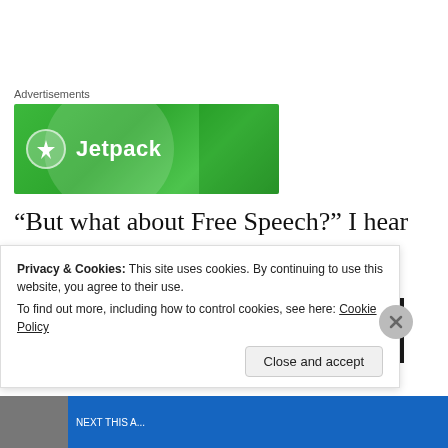[Figure (screenshot): Jetpack advertisement banner — green gradient background with Jetpack logo and text]
“But what about Free Speech?” I hear you asking.
[Figure (screenshot): YouTube-style video thumbnail showing 'Black girl decolonizing the spac...' with orange avatar icon and dark background]
Privacy & Cookies: This site uses cookies. By continuing to use this website, you agree to their use.
To find out more, including how to control cookies, see here: Cookie Policy
[Figure (screenshot): Close and accept button and bottom navigation bar in blue]